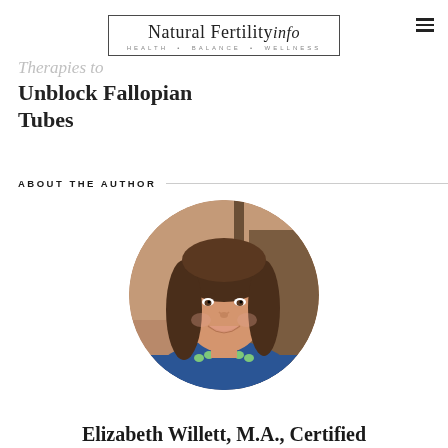Natural Fertility info — HEALTH • BALANCE • WELLNESS
Therapies to Unblock Fallopian Tubes
ABOUT THE AUTHOR
[Figure (photo): Circular portrait photo of Elizabeth Willett, a smiling woman with brown hair wearing a blue top and green necklace, seated in front of a rustic background.]
Elizabeth Willett, M.A., Certified